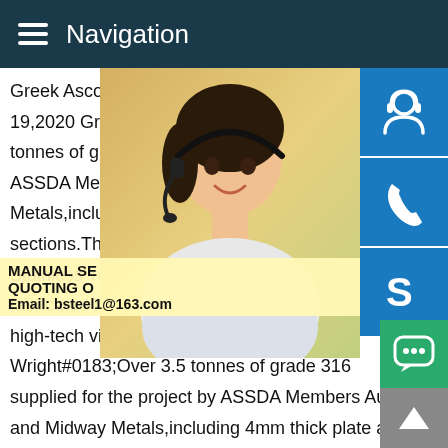Navigation
Greek Ascoloy Stainless steel behind high 19,2020 Grade 316 Stainless Steel Austra tonnes of grade 316 stainless steel was su ASSDA Members Austral Wright Metals ar Metals,including 4mm thick plate and recta sections.The water feature body was manu Stainless' manufacturing facility in Caboot fabricated in 14 components for ease of S high-tech visual artJun 19,2020 Grade 316 Wright#0183;Over 3.5 tonnes of grade 316 supplied for the project by ASSDA Members Austral Wright Metals and Midway Metals,including 4mm thick plate and rectangular hollow sections.The water feature body was manufactured at Stainless' manufacturing facility in Caboolture,Queensland,and fabricated in 14 components for ease of
[Figure (photo): Woman with headset/customer service representative smiling]
[Figure (infographic): Blue icon buttons on right side: headset/support icon, phone icon, Skype icon. Green chat bubble button. Gray scroll-to-top arrow button.]
MANUAL SE QUOTING O Email: bsteel1@163.com